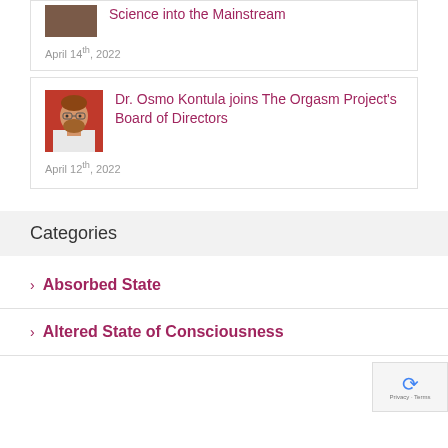[Figure (photo): Partial photo of a person (top portion cut off), used as article thumbnail]
Science into the Mainstream
April 14th, 2022
[Figure (photo): Photo of Dr. Osmo Kontula, a bearded man with glasses in front of a red background]
Dr. Osmo Kontula joins The Orgasm Project's Board of Directors
April 12th, 2022
Categories
> Absorbed State
> Altered State of Consciousness